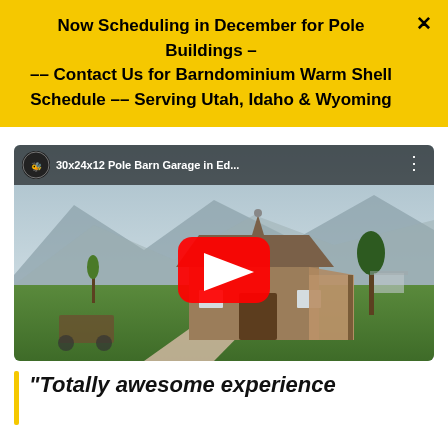Now Scheduling in December for Pole Buildings — — Contact Us for Barndominium Warm Shell Schedule — — Serving Utah, Idaho & Wyoming
[Figure (screenshot): YouTube video thumbnail showing a 30x24x12 Pole Barn Garage with a red play button overlay, set in a rural landscape with mountains in the background]
“Totally awesome experience